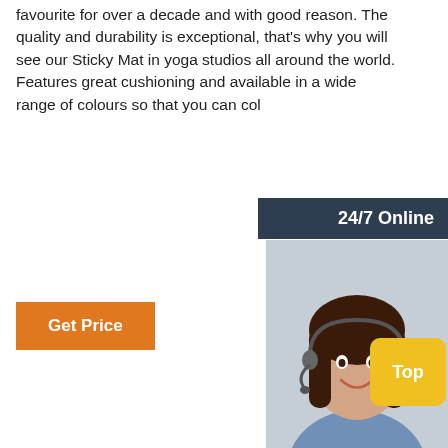favourite for over a decade and with good reason. The quality and durability is exceptional, that's why you will see our Sticky Mat in yoga studios all around the world. Features great cushioning and available in a wide range of colours so that you can col
Get Price
24/7 Online
[Figure (photo): Customer service representative woman with headset, smiling]
Click here for free chat !
QUOTATION
[Figure (photo): Gym photo: man and woman doing sit-ups on blue mat with exercise balls in background, labeled 'Gym']
[Figure (photo): Person doing squats in office/home setting]
Top